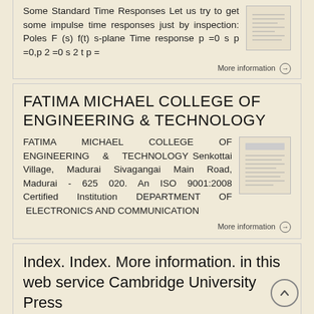Some Standard Time Responses Let us try to get some impulse time responses just by inspection: Poles F (s) f(t) s-plane Time response p =0 s p =0,p 2 =0 s 2 t p =
More information →
FATIMA MICHAEL COLLEGE OF ENGINEERING & TECHNOLOGY
FATIMA MICHAEL COLLEGE OF ENGINEERING & TECHNOLOGY Senkottai Village, Madurai Sivagangai Main Road, Madurai - 625 020. An ISO 9001:2008 Certified Institution DEPARTMENT OF ELECTRONICS AND COMMUNICATION
More information →
Index. Index. More information. in this web service Cambridge University Press